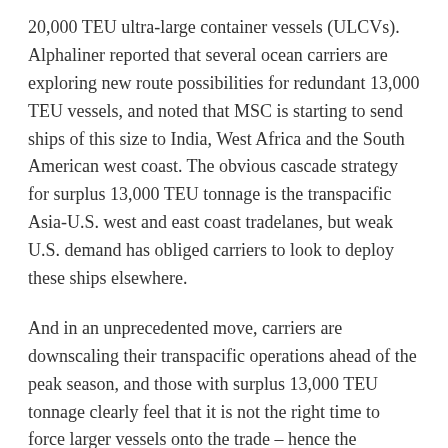20,000 TEU ultra-large container vessels (ULCVs). Alphaliner reported that several ocean carriers are exploring new route possibilities for redundant 13,000 TEU vessels, and noted that MSC is starting to send ships of this size to India, West Africa and the South American west coast. The obvious cascade strategy for surplus 13,000 TEU tonnage is the transpacific Asia-U.S. west and east coast tradelanes, but weak U.S. demand has obliged carriers to look to deploy these ships elsewhere.
And in an unprecedented move, carriers are downscaling their transpacific operations ahead of the peak season, and those with surplus 13,000 TEU tonnage clearly feel that it is not the right time to force larger vessels onto the trade – hence the experiment with other routes.
Indeed, the embarrassment of CMA CGM's